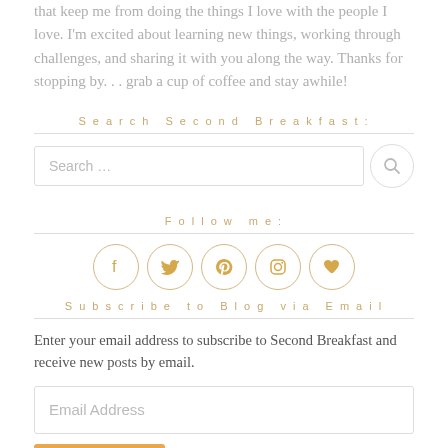that keep me from doing the things I love with the people I love. I'm excited about learning new things, working through challenges, and sharing it with you along the way. Thanks for stopping by. . . grab a cup of coffee and stay awhile!
Search Second Breakfast:
[Figure (screenshot): Search input field with search button]
Follow me:
[Figure (infographic): Five social media icons in circles: Facebook, Twitter, Pinterest, Instagram, heart/Bloglovin]
Subscribe to Blog via Email
Enter your email address to subscribe to Second Breakfast and receive new posts by email.
[Figure (screenshot): Email Address input field]
[Figure (screenshot): Subscribe button]